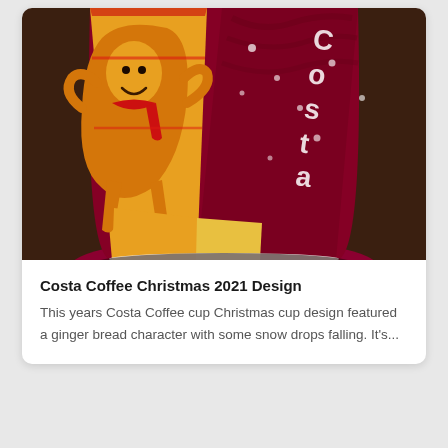[Figure (photo): Close-up photo of a Costa Coffee Christmas 2021 cup with a maroon/dark red and yellow/orange ginger bread character design with snow drops, placed on a dark brown surface.]
Costa Coffee Christmas 2021 Design
This years Costa Coffee cup Christmas cup design featured a ginger bread character with some snow drops falling. It's...